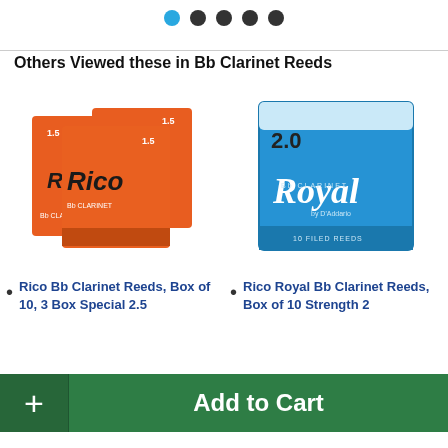[Figure (other): Carousel navigation dots: one blue filled circle followed by four dark filled circles]
Others Viewed these in Bb Clarinet Reeds
[Figure (photo): Three overlapping orange Rico Bb Clarinet reed boxes, strength 1.5]
Rico Bb Clarinet Reeds, Box of 10, 3 Box Special 2.5
[Figure (photo): Blue Royal by D'Addario Bb Clarinet reed box, strength 2.0, box of 10]
Rico Royal Bb Clarinet Reeds, Box of 10 Strength 2
Add to Cart